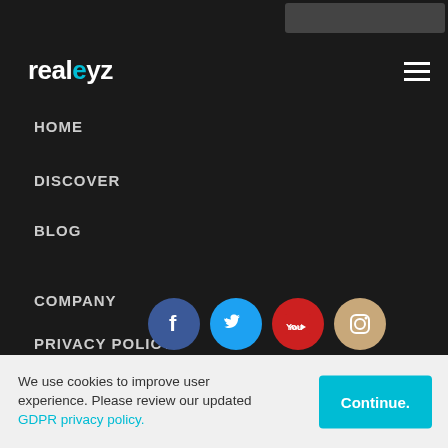realeyz
HOME
DISCOVER
BLOG
COMPANY
PRIVACY POLICY
IMPRINT
[Figure (infographic): Social media icons row: Facebook (blue circle), Twitter (cyan circle), YouTube (red circle), Instagram (tan/beige circle)]
We use cookies to improve user experience. Please review our updated GDPR privacy policy.